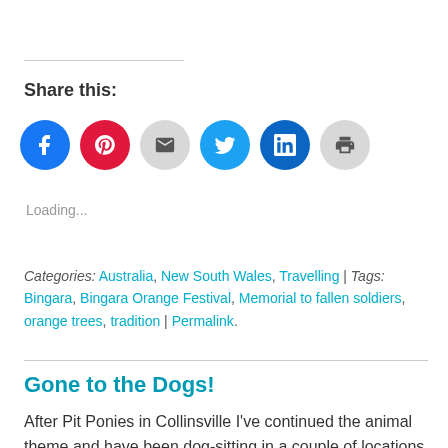Share this:
[Figure (infographic): Row of six circular social media / action icon buttons: Facebook (blue), Pinterest (red), Email (grey), Twitter (cyan), LinkedIn (dark blue), Print (grey)]
Loading...
Categories: Australia, New South Wales, Travelling | Tags: Bingara, Bingara Orange Festival, Memorial to fallen soldiers, orange trees, tradition | Permalink.
Gone to the Dogs!
After Pit Ponies in Collinsville I've continued the animal theme and have been dog-sitting in a couple of locations